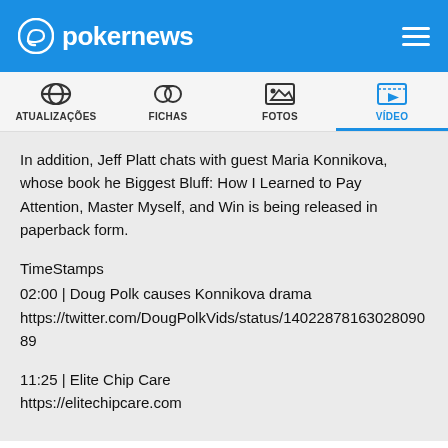pokernews
ATUALIZAÇÕES | FICHAS | FOTOS | VÍDEO
In addition, Jeff Platt chats with guest Maria Konnikova, whose book he Biggest Bluff: How I Learned to Pay Attention, Master Myself, and Win is being released in paperback form.
TimeStamps
02:00 | Doug Polk causes Konnikova drama
https://twitter.com/DougPolkVids/status/14022878163028​09089
11:25 | Elite Chip Care
https://elitechipcare.com